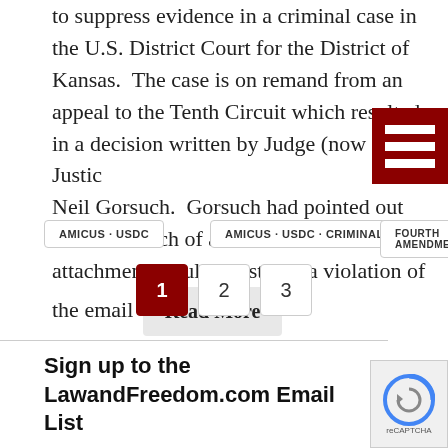to suppress evidence in a criminal case in the U.S. District Court for the District of Kansas. The case is on remand from an appeal to the Tenth Circuit which resulted in a decision written by Judge (now Justice) Neil Gorsuch. Gorsuch had pointed out that the search of an email with its attachments could constitute a violation of the email Read More
AMICUS · USDC
AMICUS · USDC · CRIMINAL
FOURTH AMENDMENT
1  2  3
Sign up to the LawandFreedom.com Email List